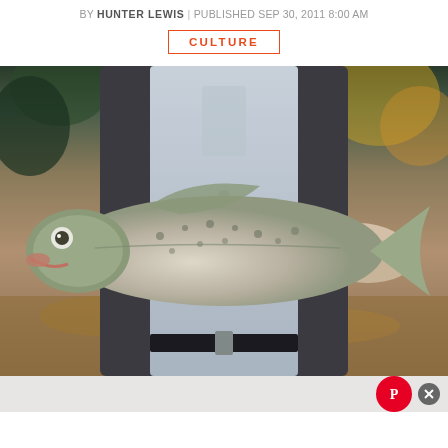BY HUNTER LEWIS | PUBLISHED SEP 30, 2011 8:00 AM
CULTURE
[Figure (photo): A person in a blue shirt and dark vest holding a large rainbow trout with both hands outdoors, with autumn foliage in the background.]